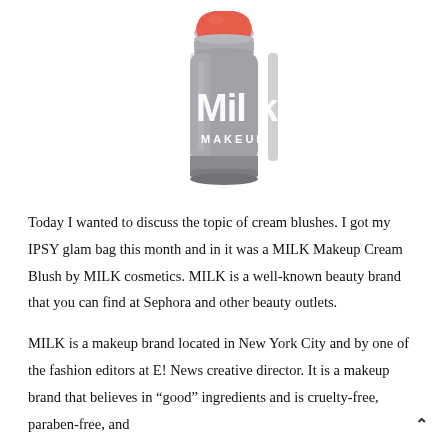[Figure (photo): Milk Makeup Cream Blush stick product photo: cylindrical grey container with 'Milk MAKEUP' branding in white letters, coral/red product visible at the top]
Today I wanted to discuss the topic of cream blushes. I got my IPSY glam bag this month and in it was a MILK Makeup Cream Blush by MILK cosmetics. MILK is a well-known beauty brand that you can find at Sephora and other beauty outlets.
MILK is a makeup brand located in New York City and by one of the fashion editors at E! News creative director. It is a makeup brand that believes in “good” ingredients and is cruelty-free, paraben-free, and